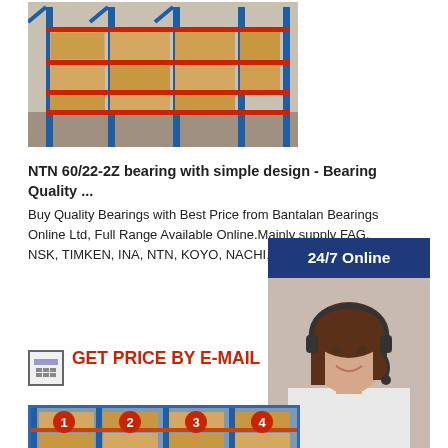[Figure (photo): Warehouse shelving with cardboard boxes on blue metal racks]
NTN 60/22-2Z bearing with simple design - Bearing Quality ...
Buy Quality Bearings with Best Price from Bantalan Bearings Online Ltd, Full Range Available Online.Mainly supply FAG, NSK, TIMKEN, INA, NTN, KOYO, NACHI, IKO etc.
GET PRICE BY E-MAIL
[Figure (illustration): 24/7 Online banner with customer service representative wearing headset, with Have any requests, click here. and Quotation button]
[Figure (photo): Warehouse shelves with numbered sections 1, 2, 3, 4 and cardboard boxes]